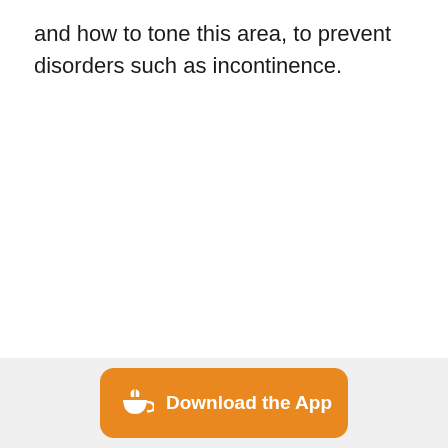and how to tone this area, to prevent disorders such as incontinence.
[Figure (other): Orange 'Download the App' button with a white cup/leaf icon on the left, displayed at the bottom of the page on a light grey footer bar.]